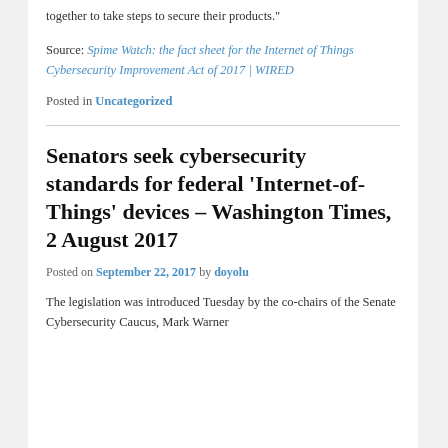together to take steps to secure their products."
Source: Spime Watch: the fact sheet for the Internet of Things Cybersecurity Improvement Act of 2017 | WIRED
Posted in Uncategorized
Senators seek cybersecurity standards for federal ‘Internet-of-Things’ devices – Washington Times, 2 August 2017
Posted on September 22, 2017 by doyolu
The legislation was introduced Tuesday by the co-chairs of the Senate Cybersecurity Caucus, Mark Warner